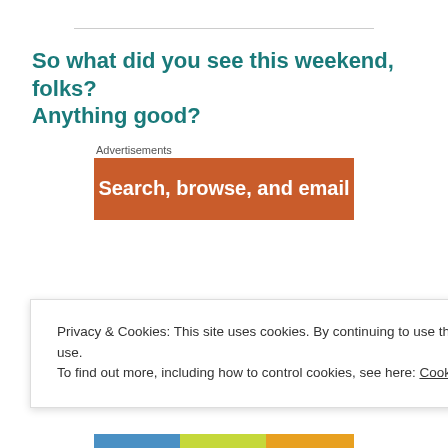So what did you see this weekend, folks? Anything good?
Advertisements
[Figure (screenshot): Orange advertisement banner with white bold text reading 'Search, browse, and email']
Privacy & Cookies: This site uses cookies. By continuing to use this website, you agree to their use. To find out more, including how to control cookies, see here: Cookie Policy
Close and accept